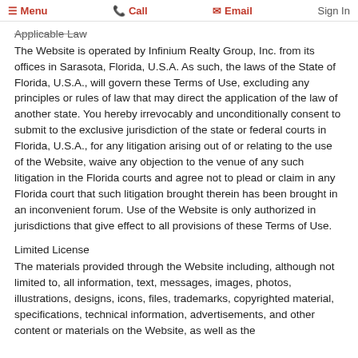Menu  Call  Email  Sign In
Applicable Law
The Website is operated by Infinium Realty Group, Inc. from its offices in Sarasota, Florida, U.S.A. As such, the laws of the State of Florida, U.S.A., will govern these Terms of Use, excluding any principles or rules of law that may direct the application of the law of another state. You hereby irrevocably and unconditionally consent to submit to the exclusive jurisdiction of the state or federal courts in Florida, U.S.A., for any litigation arising out of or relating to the use of the Website, waive any objection to the venue of any such litigation in the Florida courts and agree not to plead or claim in any Florida court that such litigation brought therein has been brought in an inconvenient forum. Use of the Website is only authorized in jurisdictions that give effect to all provisions of these Terms of Use.
Limited License
The materials provided through the Website including, although not limited to, all information, text, messages, images, photos, illustrations, designs, icons, files, trademarks, copyrighted material, specifications, technical information, advertisements, and other content or materials on the Website, as well as the organization and layout of the Website, are copyrighted by...